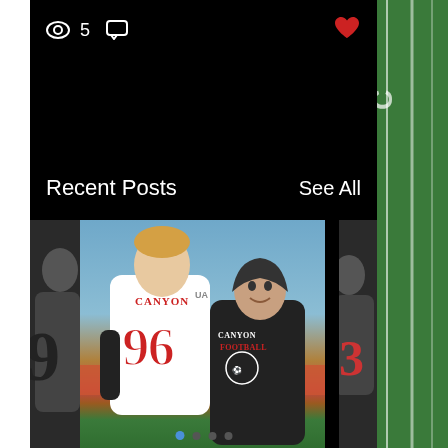5 views, comment icon, heart icon
Recent Posts
See All
[Figure (photo): Two young people posing together at a football field. The taller person on the left wears a white Canyon #96 jersey. The person on the right wears a black hoodie and a white Canyon Football shirt.]
McFall siblings adapting well in Texas
237 views, 0 comments, heart icon